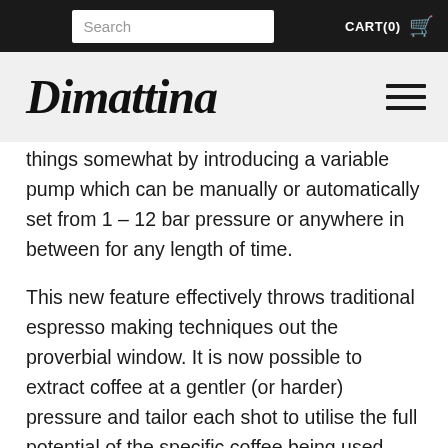Search  CART(0)
[Figure (logo): Dimattina logo in italic script font with hamburger menu icon]
things somewhat by introducing a variable pump which can be manually or automatically set from 1 – 12 bar pressure or anywhere in between for any length of time.
This new feature effectively throws traditional espresso making techniques out the proverbial window. It is now possible to extract coffee at a gentler (or harder) pressure and tailor each shot to utilise the full potential of the specific coffee being used. Add to this the ability to programme each individual group head's temperature, an electronically variable steam